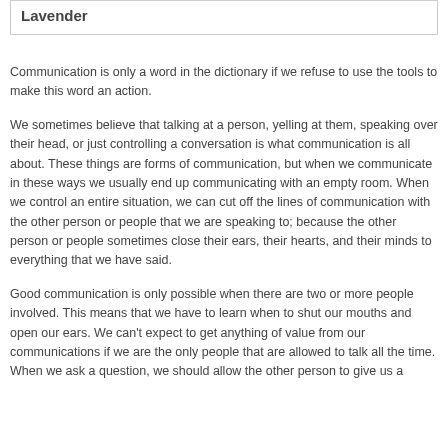Lavender
Communication is only a word in the dictionary if we refuse to use the tools to make this word an action.
We sometimes believe that talking at a person, yelling at them, speaking over their head, or just controlling a conversation is what communication is all about. These things are forms of communication, but when we communicate in these ways we usually end up communicating with an empty room. When we control an entire situation, we can cut off the lines of communication with the other person or people that we are speaking to; because the other person or people sometimes close their ears, their hearts, and their minds to everything that we have said.
Good communication is only possible when there are two or more people involved. This means that we have to learn when to shut our mouths and open our ears. We can't expect to get anything of value from our communications if we are the only people that are allowed to talk all the time. When we ask a question, we should allow the other person to give us a